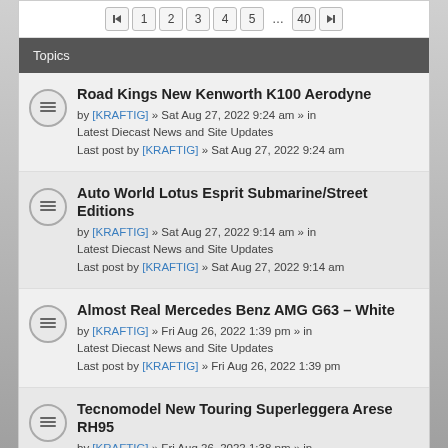Pagination: 1 2 3 4 5 ... 40
Topics
Road Kings New Kenworth K100 Aerodyne
by [KRAFTIG] » Sat Aug 27, 2022 9:24 am » in Latest Diecast News and Site Updates
Last post by [KRAFTIG] » Sat Aug 27, 2022 9:24 am
Auto World Lotus Esprit Submarine/Street Editions
by [KRAFTIG] » Sat Aug 27, 2022 9:14 am » in Latest Diecast News and Site Updates
Last post by [KRAFTIG] » Sat Aug 27, 2022 9:14 am
Almost Real Mercedes Benz AMG G63 – White
by [KRAFTIG] » Fri Aug 26, 2022 1:39 pm » in Latest Diecast News and Site Updates
Last post by [KRAFTIG] » Fri Aug 26, 2022 1:39 pm
Tecnomodel New Touring Superleggera Arese RH95
by [KRAFTIG] » Fri Aug 26, 2022 1:38 pm » in Latest Diecast News and Site Updates
Last post by [KRAFTIG] » Fri Aug 26, 2022 1:38 pm